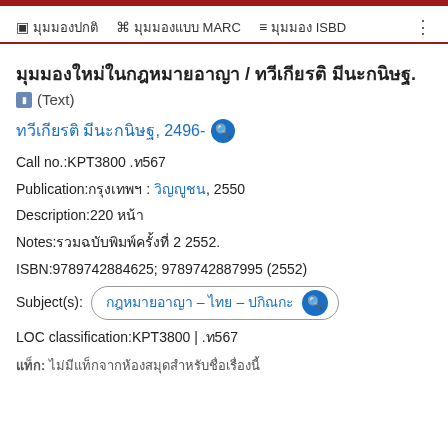มุมมองปกติ | มุมมองแบบ MARC | มุมมอง ISBD
มุมมองใหม่ในกฎหมายอาญา / ทวีเกียรติ มีนะกนิษฐ. (Text)
ทวีเกียรติ มีนะกนิษฐ, 2496-
Call no.:KPT3800 .ท567
Publication:กรุงเทพฯ : วิญญูชน, 2550
Description:220 หน้า
Notes:รวมฉบับพิมพ์ครั้งที่ 2 2552.
ISBN:9789742884625; 9789742887995 (2552)
Subject(s): กฎหมายอาญา -- ไทย – ปกิณกะ
LOC classification:KPT3800 | .ท567
แท็ก: ไม่มีแท็กจากห้องสมุดสำหรับชื่อเรื่องนี้